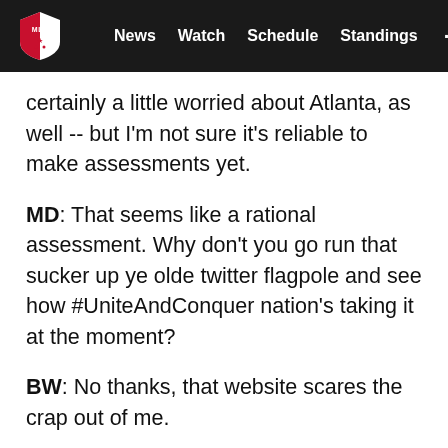MLS — News  Watch  Schedule  Standings  ···
certainly a little worried about Atlanta, as well -- but I'm not sure it's reliable to make assessments yet.
MD: That seems like a rational assessment. Why don't you go run that sucker up ye olde twitter flagpole and see how #UniteAndConquer nation's taking it at the moment?
BW: No thanks, that website scares the crap out of me.
MD: Smart man. Good survival instincts.
And a bad two days for MLS teams in the CCL. This isn't Sisyphus pushing the rock up the mountain only for it to